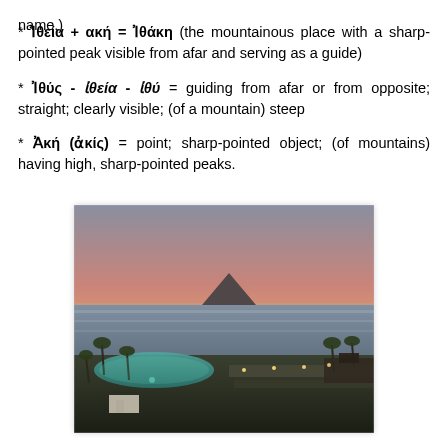name.)
* Ἰθεία + ακή = Ἰθάκη (the mountainous place with a sharp-pointed peak visible from afar and serving as a guide)
* Ἰθύς - ἰθεία - ἰθύ = guiding from afar or from opposite; straight; clearly visible; (of a mountain) steep
* Ἀκή (ἀκίς) = point; sharp-pointed object; (of mountains) having high, sharp-pointed peaks.
[Figure (photo): Coastal landscape at dusk showing a resort pool area with palm trees, a calm sea, mountain silhouetted on the horizon, and an orange-pink sunset sky.]